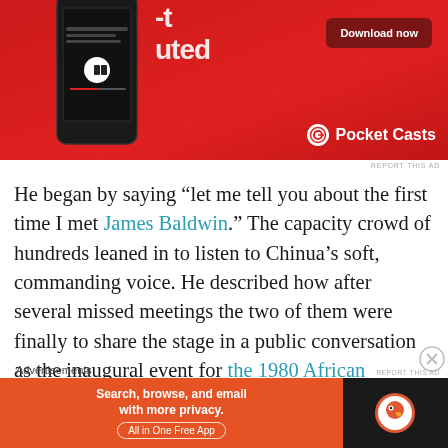[Figure (screenshot): Pocket Casts app advertisement on red background showing a smartphone with podcast app interface and 'Download now' button with Pocket Casts logo]
REPORT THIS AD
He began by saying “let me tell you about the first time I met James Baldwin.” The capacity crowd of hundreds leaned in to listen to Chinua’s soft, commanding voice. He described how after several missed meetings the two of them were finally to share the stage in a public conversation as the inaugural event for the 1980 African Literature Association conference, in Gainsville, Florida,
Advertisements
[Figure (screenshot): DuckDuckGo advertisement: 'Search, browse, and email with more privacy. All in One Free App' on orange background with DuckDuckGo logo on dark background]
REPORT THIS AD